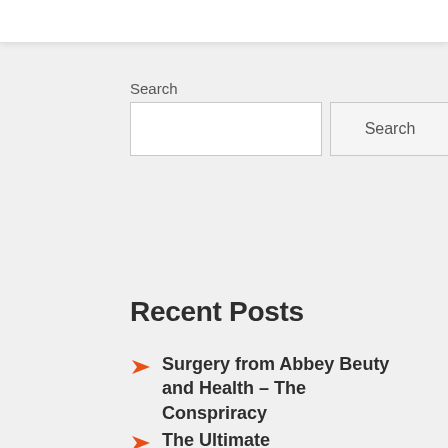Search
Search [input box] [Search button]
Recent Posts
Surgery from Abbey Beuty and Health – The Conspriracy
The Ultimate